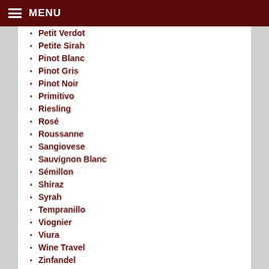MENU
Petit Verdot
Petite Sirah
Pinot Blanc
Pinot Gris
Pinot Noir
Primitivo
Riesling
Rosé
Roussanne
Sangiovese
Sauvignon Blanc
Sémillon
Shiraz
Syrah
Tempranillo
Viognier
Viura
Wine Travel
Zinfandel